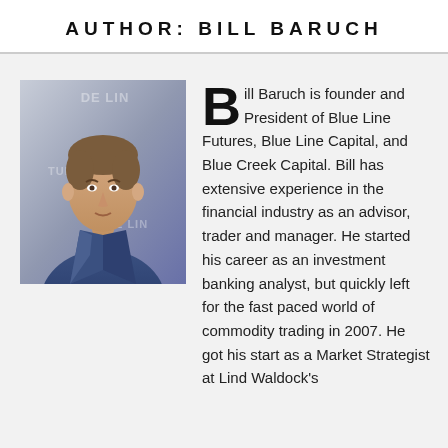AUTHOR: BILL BARUCH
[Figure (photo): Headshot photo of Bill Baruch in a blue suit with partial Blue Line Futures branding visible in background]
Bill Baruch is founder and President of Blue Line Futures, Blue Line Capital, and Blue Creek Capital. Bill has extensive experience in the financial industry as an advisor, trader and manager. He started his career as an investment banking analyst, but quickly left for the fast paced world of commodity trading in 2007. He got his start as a Market Strategist at Lind Waldock's